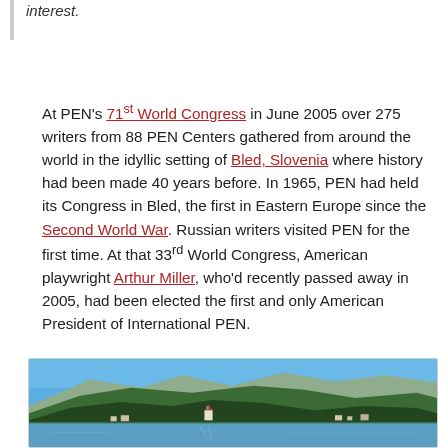interest.
At PEN's 71st World Congress in June 2005 over 275 writers from 88 PEN Centers gathered from around the world in the idyllic setting of Bled, Slovenia where history had been made 40 years before. In 1965, PEN had held its Congress in Bled, the first in Eastern Europe since the Second World War. Russian writers visited PEN for the first time. At that 33rd World Congress, American playwright Arthur Miller, who'd recently passed away in 2005, had been elected the first and only American President of International PEN.
[Figure (photo): A landscape photograph of Bled, Slovenia showing Lake Bled with a church on a small island, green forested hills and mountains in the background under a clear blue sky.]